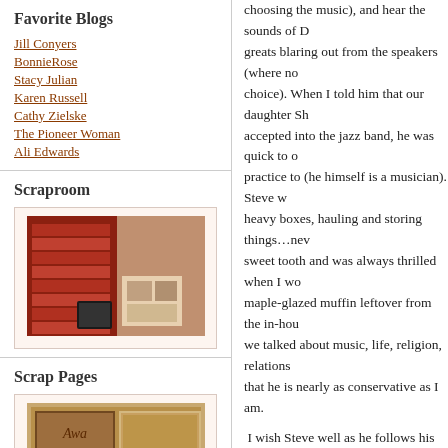Favorite Blogs
Jill Conyers
BonnieRose
Stacy Julian
Karen Russell
Cathy Zielske
The Pioneer Woman
Ali Edwards
Scraproom
[Figure (photo): Photo of a scraproom with shelves of colorful supplies]
Scrap Pages
[Figure (photo): Scrapbook page with vintage-style photos and decorative elements]
choosing the music), and hear the sounds of D... greats blaring out from the speakers (where no... choice). When I told him that our daughter Sh... accepted into the jazz band, he was quick to o... practice to (he himself is a musician). Steve w... heavy boxes, hauling and storing things…nev... sweet tooth and was always thrilled when I wo... maple-glazed muffin leftover from the in-hou... we talked about music, life, religion, relations... that he is nearly as conservative as I am.
I wish Steve well as he follows his heart and ... ways and great music choices. Over time, he o... his farewell party, he told me his exterior is no... put up an exterior hoping to come across a cer... and can't sustain that outer shell…whatever it... lesson that clearly, you can't judge a book by ... the surprises and delights inside. My prayer to... and see the real person…not just the exterior.... man and I'm grateful for the life lessons I lear...
Posted at 03:20 PM in Changing | Permalink
Reblog (0)
Comments